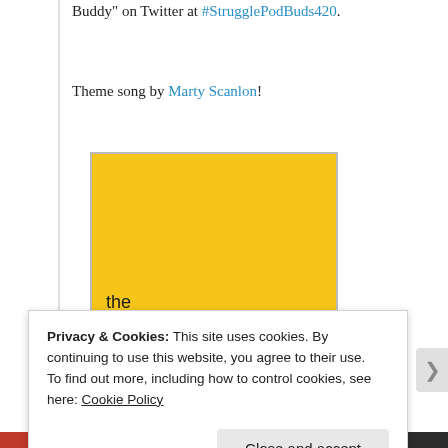Buddy" on Twitter at #StrugglePodBuds420.
Theme song by Marty Scanlon!
[Figure (logo): The Struggle Bus podcast logo — yellow square with dark text reading 'the STRUGGLE BUS' with a small bus icon]
Privacy & Cookies: This site uses cookies. By continuing to use this website, you agree to their use.
To find out more, including how to control cookies, see here: Cookie Policy
Close and accept